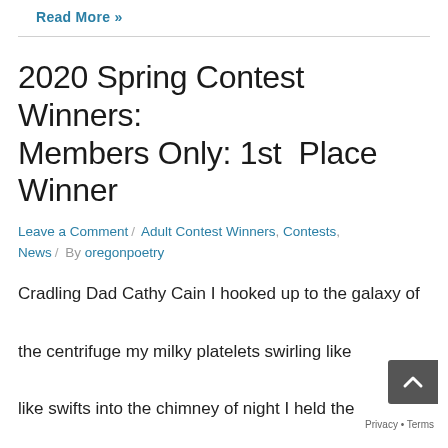Read More »
2020 Spring Contest Winners: Members Only: 1st Place Winner
Leave a Comment / Adult Contest Winners, Contests, News / By oregonpoetry
Cradling Dad Cathy Cain I hooked up to the galaxy of the centrifuge my milky platelets swirling like like swifts into the chimney of night I held the